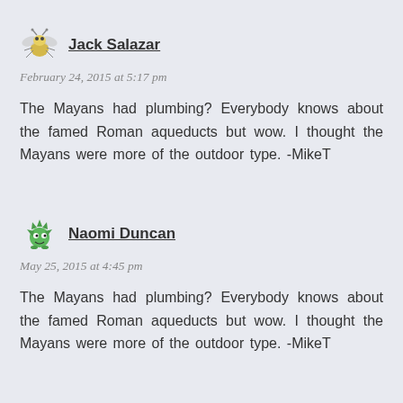[Figure (illustration): Yellow and grey cartoon insect/mosquito avatar for Jack Salazar]
Jack Salazar
February 24, 2015 at 5:17 pm
The Mayans had plumbing? Everybody knows about the famed Roman aqueducts but wow. I thought the Mayans were more of the outdoor type. -MikeT
[Figure (illustration): Green spiky cartoon creature avatar for Naomi Duncan]
Naomi Duncan
May 25, 2015 at 4:45 pm
The Mayans had plumbing? Everybody knows about the famed Roman aqueducts but wow. I thought the Mayans were more of the outdoor type. -MikeT